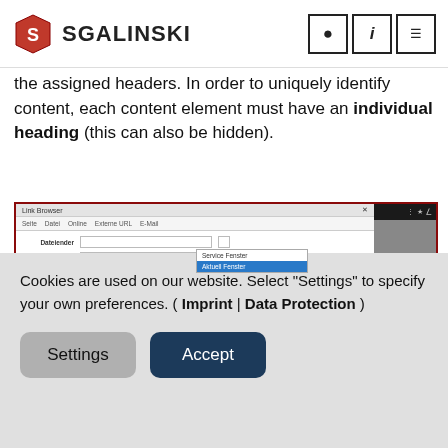SGALINSKI
the assigned headers. In order to uniquely identify content, each content element must have an individual heading (this can also be hidden).
[Figure (screenshot): Screenshot of Link Browser dialog showing tabs (Seite, Datei, Online, Externe URL, E-Mail), fields for Dateiender and Titel, and a dropdown with options 'Service Fenster' and 'Aktuell Fenster' (selected in blue), plus a page tree with Website-Root and Startseite entries.]
[Figure (screenshot): Screenshot of Link Browser dialog showing tabs (Seite, Datei, Online, Externe URL, E-Mail) with Externe URL tab active, and a Dateiender field visible.]
Cookies are used on our website. Select "Settings" to specify your own preferences. ( Imprint | Data Protection )